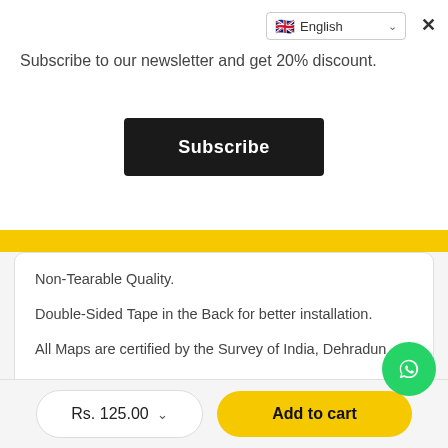Subscribe to our newsletter and get 20% discount.
Subscribe
Non-Tearable Quality.
Double-Sided Tape in the Back for better installation.
All Maps are certified by the Survey of India, Dehradun.
Related items
Rs. 125.00
Add to cart